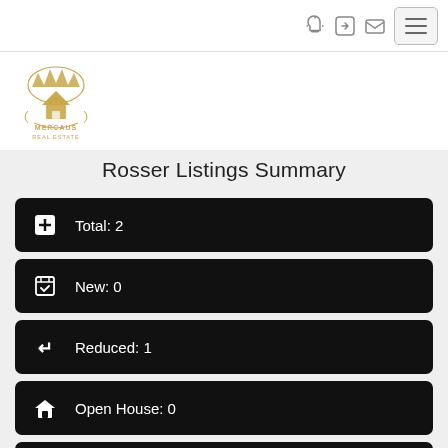[Figure (logo): Mercaus Real Estate logo — golden crown and house motif with ornamental scrollwork]
Rosser Listings Summary
Total: 2
New: 0
Reduced: 1
Open House: 0